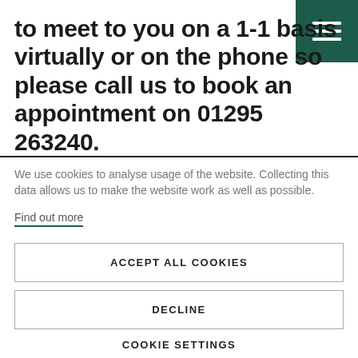to meet to you on a 1-1 basis virtually or on the phone so please call us to book an appointment on 01295 263240.
We use cookies to analyse usage of the website. Collecting this data allows us to make the website work as well as possible.
Find out more
ACCEPT ALL COOKIES
DECLINE
COOKIE SETTINGS